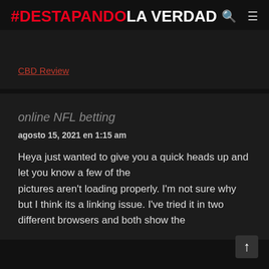#DESTAPANDO LA VERDAD
CBD Review
online NFL betting
agosto 15, 2021 en 1:15 am
Heya just wanted to give you a quick heads up and let you know a few of the pictures aren't loading properly. I'm not sure why but I think its a linking issue. I've tried it in two different browsers and both show the